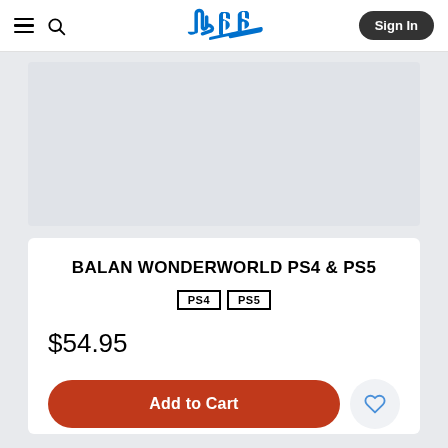PlayStation Store navigation: menu, search, PlayStation logo, Sign In
[Figure (photo): Product image placeholder area (light gray background)]
BALAN WONDERWORLD PS4 & PS5
PS4  PS5
$54.95
Add to Cart